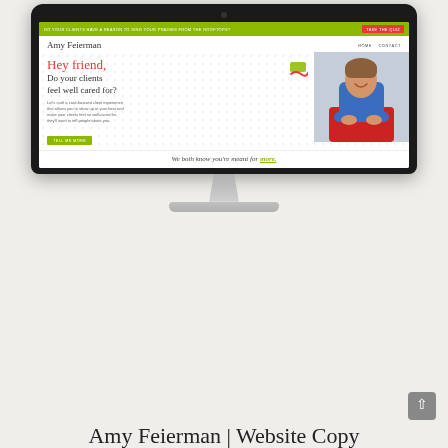[Figure (screenshot): Screenshot of Amy Feierman website displayed on a desktop iMac-style monitor. The website shows a green announcement bar, Amy Feierman logo/nav, and a hero section with script text 'Hey friend,' red heading 'Do your clients feel well cared for?', body copy and a green CTA button, alongside a photo of a smiling woman in a denim jacket. Below is italic tagline 'We both know you're meant for more.']
Amy Feierman | Website Copy